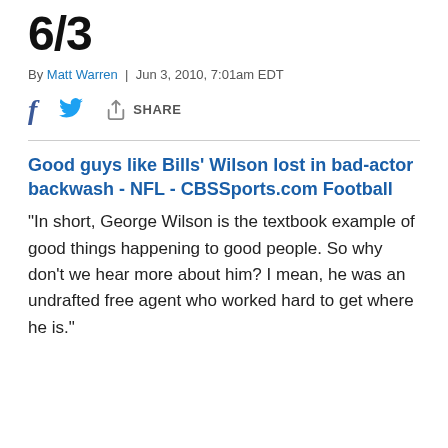6/3
By Matt Warren | Jun 3, 2010, 7:01am EDT
Good guys like Bills' Wilson lost in bad-actor backwash - NFL - CBSSports.com Football
"In short, George Wilson is the textbook example of good things happening to good people. So why don't we hear more about him? I mean, he was an undrafted free agent who worked hard to get where he is."